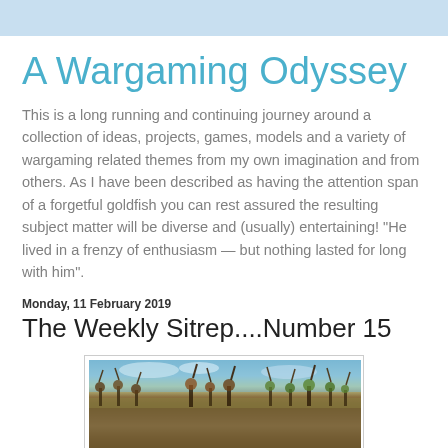A Wargaming Odyssey
This is a long running and continuing journey around a collection of ideas, projects, games, models and a variety of wargaming related themes from my own imagination and from others. As I have been described as having the attention span of a forgetful goldfish you can rest assured the resulting subject matter will be diverse and (usually) entertaining! "He lived in a frenzy of enthusiasm — but nothing lasted for long with him".
Monday, 11 February 2019
The Weekly Sitrep....Number 15
[Figure (illustration): A painted illustration of a medieval or ancient battle scene showing soldiers with spears and weapons clashing in a field with a blue sky background.]